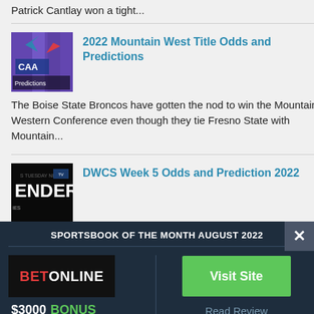Patrick Cantlay won a tight...
[Figure (photo): CAA logo with Predictions text overlay on purple background]
2022 Mountain West Title Odds and Predictions
The Boise State Broncos have gotten the nod to win the Mountain Western Conference even though they tie Fresno State with Mountain...
[Figure (photo): Dark book/video cover with text TENDER and ENDER LIES]
DWCS Week 5 Odds and Prediction 2022
SPORTSBOOK OF THE MONTH AUGUST 2022
[Figure (logo): BetOnline logo on black background]
$3000 BONUS
Visit Site
Read Review